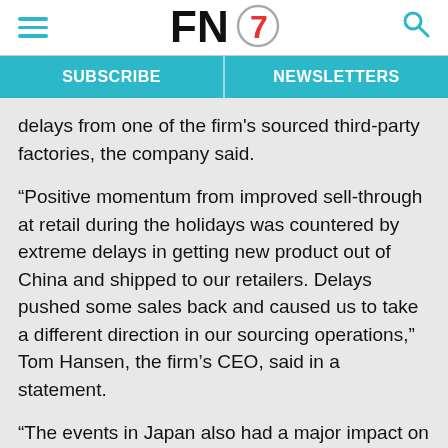FN7 [logo]
SUBSCRIBE   NEWSLETTERS
delays from one of the firm's sourced third-party factories, the company said.
“Positive momentum from improved sell-through at retail during the holidays was countered by extreme delays in getting new product out of China and shipped to our retailers. Delays pushed some sales back and caused us to take a different direction in our sourcing operations,” Tom Hansen, the firm’s CEO, said in a statement.
“The events in Japan also had a major impact on our sales and operations there, though things seem to be settling somewhat now. We continue to find new efficiencies in operations, and we are excited about the new programs we have put in place for back-to-school